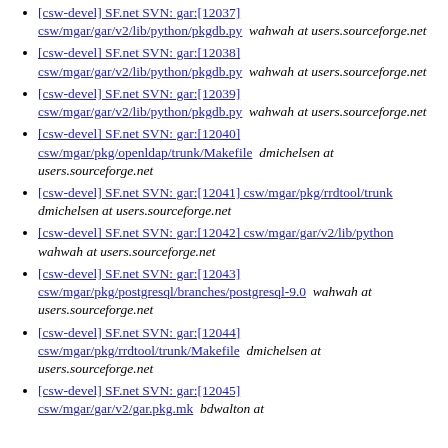[csw-devel] SF.net SVN: gar:[12037] csw/mgar/gar/v2/lib/python/pkgdb.py  wahwah at users.sourceforge.net
[csw-devel] SF.net SVN: gar:[12038] csw/mgar/gar/v2/lib/python/pkgdb.py  wahwah at users.sourceforge.net
[csw-devel] SF.net SVN: gar:[12039] csw/mgar/gar/v2/lib/python/pkgdb.py  wahwah at users.sourceforge.net
[csw-devel] SF.net SVN: gar:[12040] csw/mgar/pkg/openldap/trunk/Makefile  dmichelsen at users.sourceforge.net
[csw-devel] SF.net SVN: gar:[12041] csw/mgar/pkg/rrdtool/trunk  dmichelsen at users.sourceforge.net
[csw-devel] SF.net SVN: gar:[12042] csw/mgar/gar/v2/lib/python  wahwah at users.sourceforge.net
[csw-devel] SF.net SVN: gar:[12043] csw/mgar/pkg/postgresql/branches/postgresql-9.0  wahwah at users.sourceforge.net
[csw-devel] SF.net SVN: gar:[12044] csw/mgar/pkg/rrdtool/trunk/Makefile  dmichelsen at users.sourceforge.net
[csw-devel] SF.net SVN: gar:[12045] csw/mgar/gar/v2/gar.pkg.mk  bdwalton at